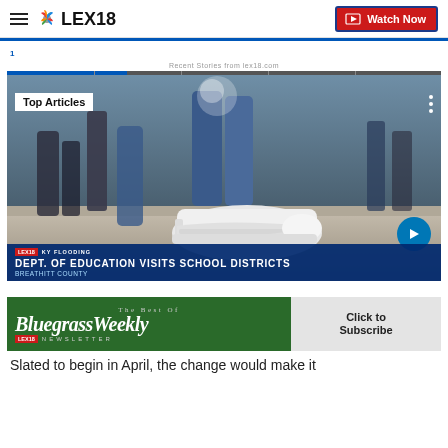LEX18 — Watch Now
Recent Stories from lex18.com
[Figure (screenshot): Video player showing students' feet/shoes in a school hallway. Overlay shows 'Top Articles' badge, breaking news bar reading 'DEPT. OF EDUCATION VISITS SCHOOL DISTRICTS / BREATHITT COUNTY', and a previous story tag referencing KY flooding.]
[Figure (screenshot): Advertisement banner: 'The Best Of Bluegrass Weekly Newsletter' with LEX18 branding on green background, 'Click to Subscribe' on right side.]
Slated to begin in April, the change would make it